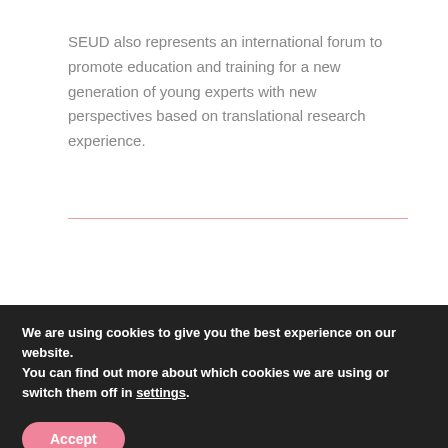SEUD also represents an international forum to promote education and training for a new generation of young experts with new perspectives based on translational research experience.
We are using cookies to give you the best experience on our website.
You can find out more about which cookies we are using or switch them off in settings.